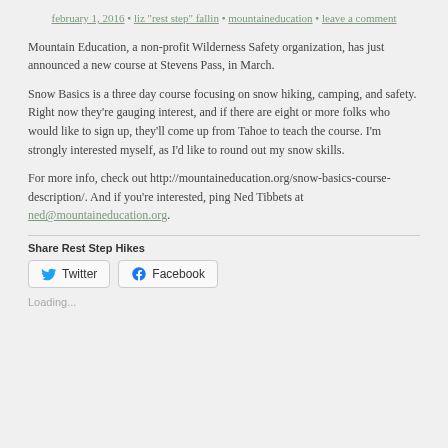february 1, 2016 • liz "rest step" fallin • mountaineducation • leave a comment
Mountain Education, a non-profit Wilderness Safety organization, has just announced a new course at Stevens Pass, in March.
Snow Basics is a three day course focusing on snow hiking, camping, and safety. Right now they're gauging interest, and if there are eight or more folks who would like to sign up, they'll come up from Tahoe to teach the course. I'm strongly interested myself, as I'd like to round out my snow skills.
For more info, check out http://mountaineducation.org/snow-basics-course-description/. And if you're interested, ping Ned Tibbets at ned@mountaineducation.org.
Share Rest Step Hikes
Twitter  Facebook
Loading...